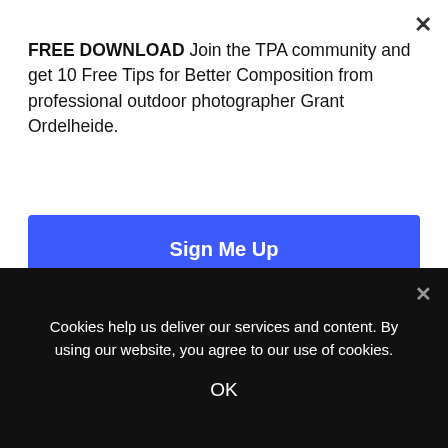FREE DOWNLOAD Join the TPA community and get 10 Free Tips for Better Composition from professional outdoor photographer Grant Ordelheide.
Sign Me Up
image won't look like a weird mix of different resolutions.
Pay attention to the lighting and shadows.
Cookies help us deliver our services and content. By using our website, you agree to our use of cookies.
OK